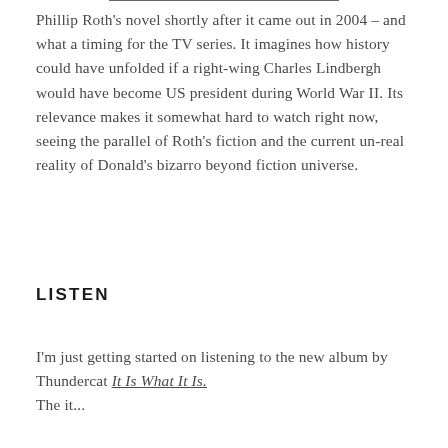Phillip Roth's novel shortly after it came out in 2004 – and what a timing for the TV series. It imagines how history could have unfolded if a right-wing Charles Lindbergh would have become US president during World War II. Its relevance makes it somewhat hard to watch right now, seeing the parallel of Roth's fiction and the current un-real reality of Donald's bizarro beyond fiction universe.
LISTEN
I'm just getting started on listening to the new album by Thundercat It Is What It Is. The it...